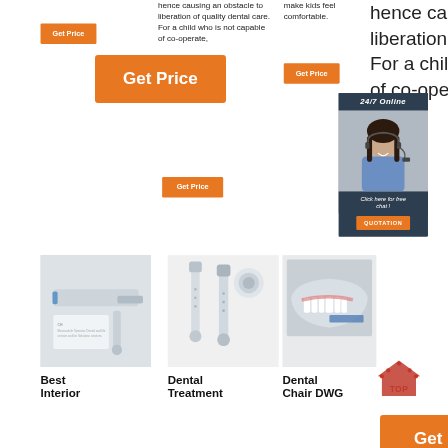hence causing an obstacle to liberation of quality dental care. For a child who is not capable of co-operate,
make kids feel comfortable.
[Figure (other): Orange Get Price button top left]
[Figure (other): Orange Get Price button top right]
[Figure (other): Orange Get Price button middle center]
[Figure (other): Dark sidebar with 24/7 Online label, woman with headset, Click here for free chat text, and orange QUOTATION button]
[Figure (photo): Dental tool / handpiece product photo]
[Figure (photo): Dental treatment handpiece product photo]
[Figure (photo): Dental chair DWG product photo]
Best Interior
Dental Treatment
Dental Chair DWG